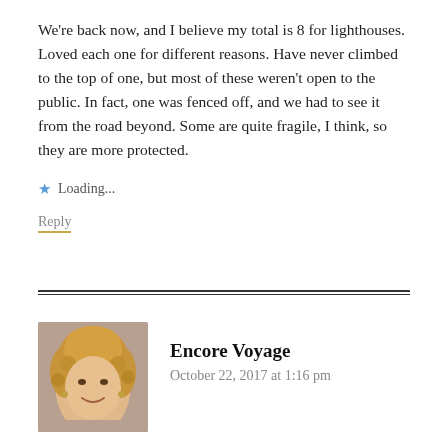We're back now, and I believe my total is 8 for lighthouses. Loved each one for different reasons. Have never climbed to the top of one, but most of these weren't open to the public. In fact, one was fenced off, and we had to see it from the road beyond. Some are quite fragile, I think, so they are more protected.
★ Loading...
Reply
[Figure (photo): Profile photo of a woman with curly blonde hair, smiling]
Encore Voyage
October 22, 2017 at 1:16 pm